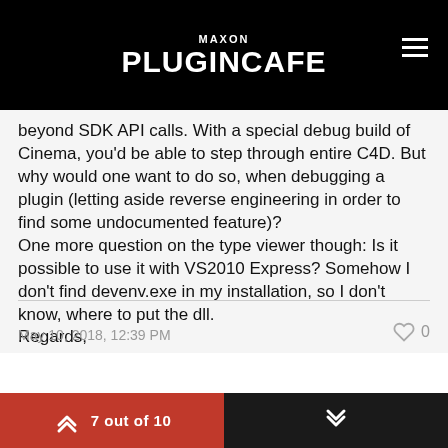MAXON PLUGINCAFE
beyond SDK API calls. With a special debug build of Cinema, you'd be able to step through entire C4D. But why would one want to do so, when debugging a plugin (letting aside reverse engineering in order to find some undocumented feature)?
One more question on the type viewer though: Is it possible to use it with VS2010 Express? Somehow I don't find devenv.exe in my installation, so I don't know, where to put the dll.
Regards,
Andreas
May 10, 2018, 12:39 PM   0   7 out of 10